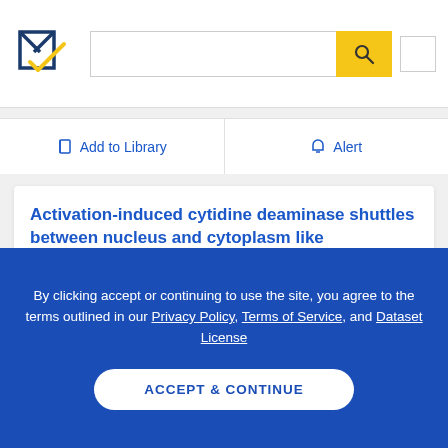[Figure (logo): Semantic Scholar logo — navy and gold checkmark-style icon]
Add to Library
Alert
Activation-induced cytidine deaminase shuttles between nucleus and cytoplasm like apolipoprotein B mRNA editing catalytic polypeptide 1
S. Ito, H. Nagaoka, +4 authors, T. Honjo
By clicking accept or continuing to use the site, you agree to the terms outlined in our Privacy Policy, Terms of Service, and Dataset License
ACCEPT & CONTINUE